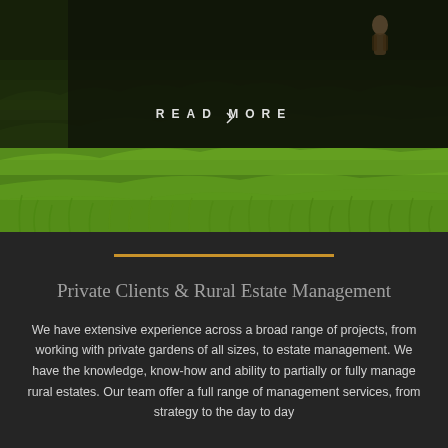[Figure (photo): A green grass field landscape photo with a dark semi-transparent overlay panel at the top containing a 'READ MORE' button text in white spaced letters. A person is partially visible in the upper right area of the image.]
Private Clients & Rural Estate Management
We have extensive experience across a broad range of projects, from working with private gardens of all sizes, to estate management. We have the knowledge, know-how and ability to partially or fully manage rural estates. Our team offer a full range of management services, from strategy to the day to day